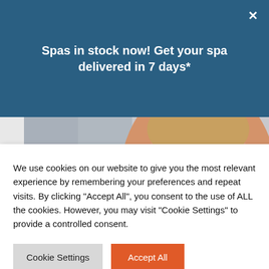Spas in stock now! Get your spa delivered in 7 days*
[Figure (photo): Woman relaxing in a hot tub holding a glass of red wine, seen from shoulders up, background is white/grey]
hot Tub in
lth, a warm
es wonders
We use cookies on our website to give you the most relevant experience by remembering your preferences and repeat visits. By clicking "Accept All", you consent to the use of ALL the cookies. However, you may visit "Cookie Settings" to provide a controlled consent.
Cookie Settings
Accept All